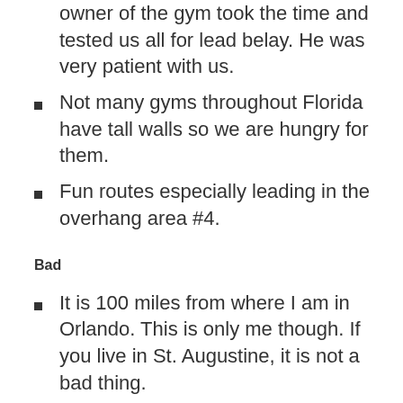owner of the gym took the time and tested us all for lead belay. He was very patient with us.
Not many gyms throughout Florida have tall walls so we are hungry for them.
Fun routes especially leading in the overhang area #4.
Bad
It is 100 miles from where I am in Orlando. This is only me though. If you live in St. Augustine, it is not a bad thing.
No autobelay. =( Although I prefer rope or lead, it is nice to have an autobelay so that you can climb by yourself with rope when you don't have a